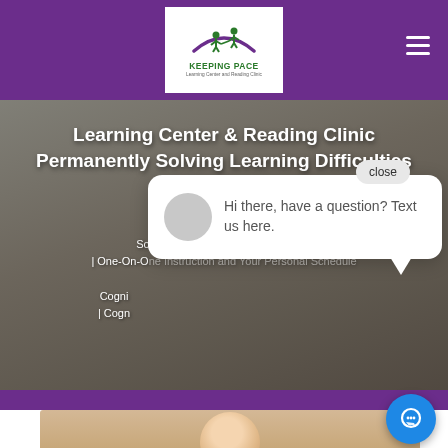Keeping Pace Learning Center and Reading Clinic — navigation header
Learning Center & Reading Clinic
Permanently Solving Learning Difficulties
Solve Your Smart Student Struggles | One-On-One Instruction and Your Personal Schedule
Cogni... | Cogn...
[Figure (screenshot): Chat popup overlay with avatar circle and text: Hi there, have a question? Text us here. With a close button.]
[Figure (photo): Bottom strip showing partial photo of a person, light background.]